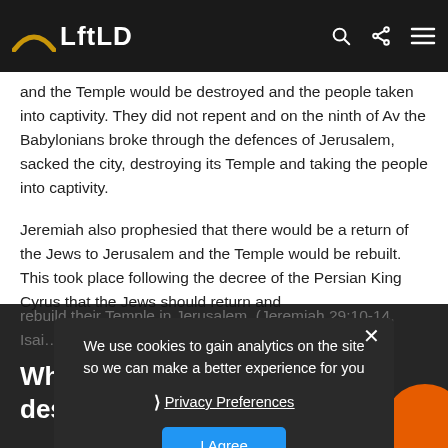[Figure (logo): LftLD website logo with golden arc above text on dark navbar, with search, share, and menu icons on the right]
and the Temple would be destroyed and the people taken into captivity.  They did not repent and on the ninth of Av the Babylonians broke through the defences of Jerusalem, sacked the city, destroying its Temple and taking the people into captivity.
Jeremiah also prophesied that there would be a return of the Jews to Jerusalem and the Temple would be rebuilt.  This took place following the decree of the Persian King Cyrus that the Jews should return and
rebuild their Temple in Jerusalem.  (Jeremiah 29:10-14, Isai…
Why was the Second Temple destroyed?
The reference in the rabbinic letter to "baseless hatred…
We use cookies to gain analytics on the site so we can make a better experience for you
Privacy Preferences
I Agree